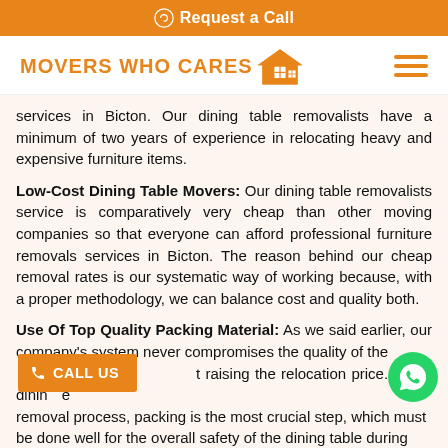Request a Call
[Figure (logo): Movers Who Cares logo with orange house icon and hamburger menu icon]
services in Bicton. Our dining table removalists have a minimum of two years of experience in relocating heavy and expensive furniture items.
Low-Cost Dining Table Movers: Our dining table removalists service is comparatively very cheap than other moving companies so that everyone can afford professional furniture removals services in Bicton. The reason behind our cheap removal rates is our systematic way of working because, with a proper methodology, we can balance cost and quality both.
Use Of Top Quality Packing Material: As we said earlier, our company's system never compromises the quality of the t raising the relocation price. In the dinin e removal process, packing is the most crucial step, which must be done well for the overall safety of the dining table during